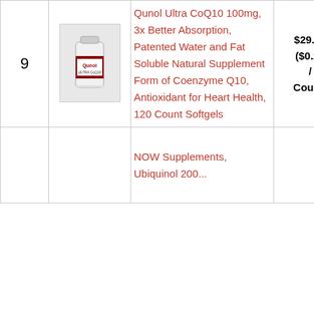| # | Image | Product | Price | Action |
| --- | --- | --- | --- | --- |
| 9 | [Qunol image] | Qunol Ultra CoQ10 100mg, 3x Better Absorption, Patented Water and Fat Soluble Natural Supplement Form of Coenzyme Q10, Antioxidant for Heart Health, 120 Count Softgels | $29.97 ($0.25 / Count) | Buy on Amazon |
|  |  | NOW Supplements, Ubiquinol 200... |  |  |